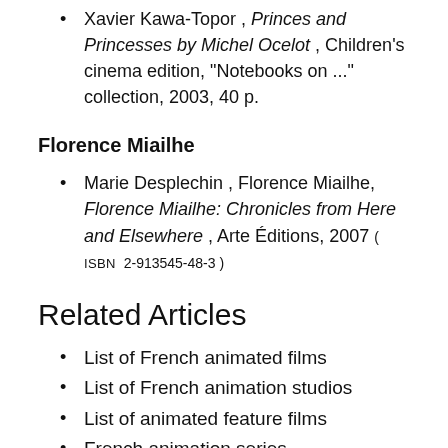Xavier Kawa-Topor , Princes and Princesses by Michel Ocelot , Children's cinema edition, "Notebooks on ..." collection, 2003, 40 p.
Florence Miailhe
Marie Desplechin , Florence Miailhe, Florence Miailhe: Chronicles from Here and Elsewhere , Arte Éditions, 2007 ( ISBN 2-913545-48-3 )
Related Articles
List of French animated films
List of French animation studios
List of animated feature films
French animation series